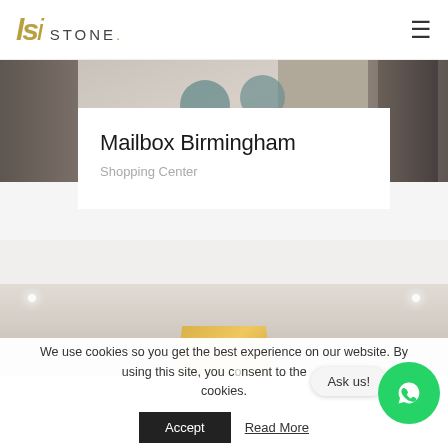LSI STONE.
[Figure (photo): Interior photo showing a modern lobby/lounge area with rounded teal chairs, wooden flooring, and a person seated with their back to the camera]
Mailbox Birmingham
Shopping Center
[Figure (photo): Interior photo of a shopping center ceiling/atrium with recessed lighting and warm gold architectural detail]
We use cookies so you get the best experience on our website. By using this site, you consent to the use of cookies.
Accept
Read More
Ask us!